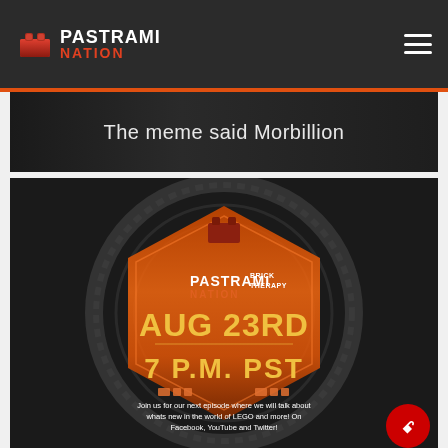PASTRAMI NATION
[Figure (screenshot): Dark image banner with text 'The meme said Morbillion']
[Figure (infographic): Pastrami Nation Brick Therapy event promotional image. Dark background with turbine/wheel imagery. Orange diamond/hexagon shape in center with Pastrami Nation Brick Therapy logo. Text reads: AUG 23RD, 7 P.M. PST. Join us for our next episode where we will talk about whats new in the world of LEGO and more! On Facebook, YouTube and Twitter!]